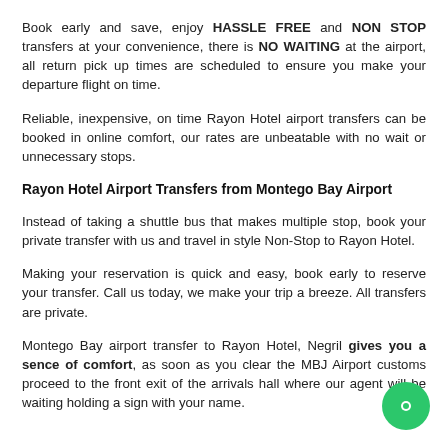Book early and save, enjoy HASSLE FREE and NON STOP transfers at your convenience, there is NO WAITING at the airport, all return pick up times are scheduled to ensure you make your departure flight on time.
Reliable, inexpensive, on time Rayon Hotel airport transfers can be booked in online comfort, our rates are unbeatable with no wait or unnecessary stops.
Rayon Hotel Airport Transfers from Montego Bay Airport
Instead of taking a shuttle bus that makes multiple stop, book your private transfer with us and travel in style Non-Stop to Rayon Hotel.
Making your reservation is quick and easy, book early to reserve your transfer. Call us today, we make your trip a breeze. All transfers are private.
Montego Bay airport transfer to Rayon Hotel, Negril gives you a sence of comfort, as soon as you clear the MBJ Airport customs proceed to the front exit of the arrivals hall where our agent will be waiting holding a sign with your name.